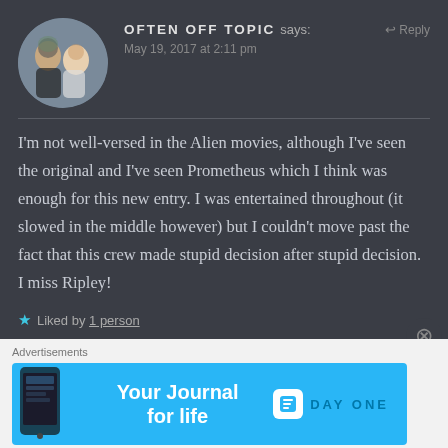[Figure (photo): Circular avatar photo of two people outdoors]
OFTEN OFF TOPIC says:
May 19, 2017 at 2:11 pm
I'm not well-versed in the Alien movies, although I've seen the original and I've seen Prometheus which I think was enough for this new entry. I was entertained throughout (it slowed in the middle however) but I couldn't move past the fact that this crew made stupid decision after stupid decision. I miss Ripley!
Liked by 1 person
Advertisements
[Figure (other): Day One app advertisement banner — Your Journal for life]